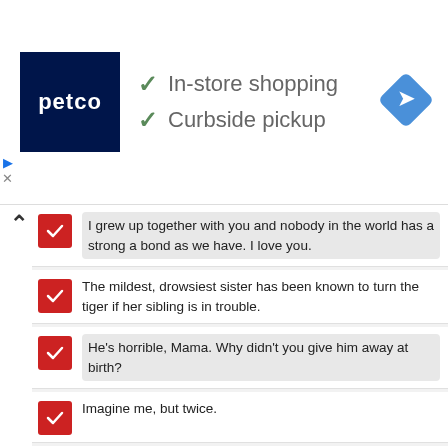[Figure (screenshot): Petco advertisement banner showing logo with checkmarks for 'In-store shopping' and 'Curbside pickup', with a navigation/directions icon on the right.]
I grew up together with you and nobody in the world has a strong a bond as we have. I love you.
The mildest, drowsiest sister has been known to turn the tiger if her sibling is in trouble.
He's horrible, Mama. Why didn't you give him away at birth?
Imagine me, but twice.
The best thing about having a sister was that I always had a friend.
The greatest gift our parents ever gave us was each other.
Siblings that say they never fight are most definitely hiding something.